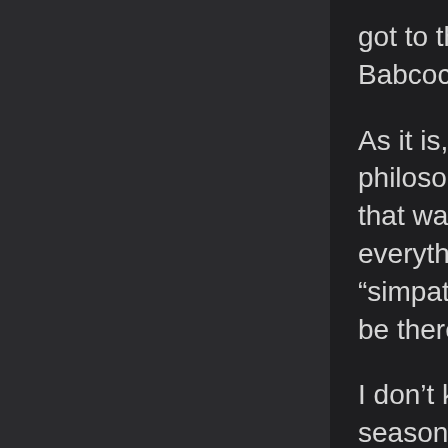got to the point where it seemed every move that Babcock made was questioned.

As it is, we know now for sure that there was a philosophical divide between Dubas and Babcock that was never going to be bridged, despite everything either side was saying publicly. The “simpatico” was never there, abd was never going to be there.

I don’t know if I would say the beginning of the season was “wasted”. I am sure that Shanahan, and the board wanted to make darn sure this